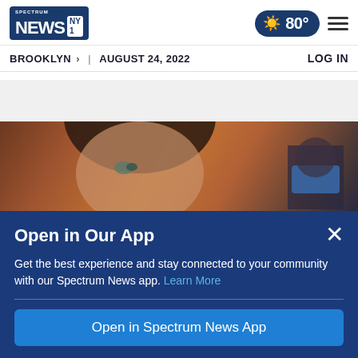Spectrum News NY1 | BROOKLYN > | AUGUST 24, 2022 | 80° | LOG IN
[Figure (photo): Close-up photo of a woman with dark hair looking upward, with a warm orange/brown background and a person in a blue mask visible in the background]
Open in Our App
Get the best experience and stay connected to your community with our Spectrum News app. Learn More
Open in Spectrum News App
Continue in Browser